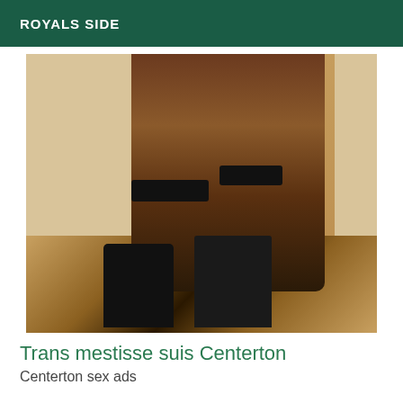ROYALS SIDE
[Figure (photo): Photo of a person wearing black thigh-high stockings, a wide black belt/waist cincher, dark red and black underwear, and black high-heeled boots, standing on a tiger-print surface with decorative wallpaper in the background.]
Trans mestisse suis Centerton
Centerton sex ads